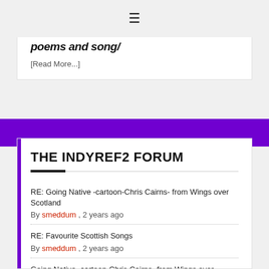≡
poems and song/
[Read More...]
THE INDYREF2 FORUM
RE: Going Native -cartoon-Chris Cairns- from Wings over Scotland
By smeddum , 2 years ago
RE: Favourite Scottish Songs
By smeddum , 2 years ago
Going Native -cartoon-Chris Cairns- from Wings over Scotland
By smeddum , 3 years ago